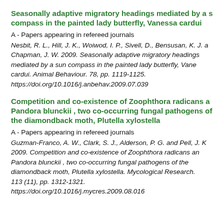Seasonally adaptive migratory headings mediated by a sun compass in the painted lady butterfly, Vanessa cardui
A - Papers appearing in refereed journals
Nesbit, R. L., Hill, J. K., Woiwod, I. P., Sivell, D., Bensusan, K. J. and Chapman, J. W. 2009. Seasonally adaptive migratory headings mediated by a sun compass in the painted lady butterfly, Vanessa cardui. Animal Behaviour. 78, pp. 1119-1125. https://doi.org/10.1016/j.anbehav.2009.07.039
Competition and co-existence of Zoophthora radicans and Pandora blunckii , two co-occurring fungal pathogens of the diamondback moth, Plutella xylostella
A - Papers appearing in refereed journals
Guzman-Franco, A. W., Clark, S. J., Alderson, P. G. and Pell, J. K. 2009. Competition and co-existence of Zoophthora radicans and Pandora blunckii , two co-occurring fungal pathogens of the diamondback moth, Plutella xylostella. Mycological Research. 113 (11), pp. 1312-1321. https://doi.org/10.1016/j.mycres.2009.08.016